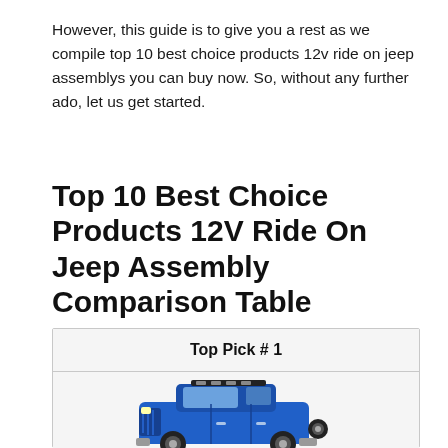However, this guide is to give you a rest as we compile top 10 best choice products 12v ride on jeep assemblys you can buy now. So, without any further ado, let us get started.
Top 10 Best Choice Products 12V Ride On Jeep Assembly Comparison Table
| Top Pick # 1 |
| --- |
| [image of blue ride-on jeep toy] |